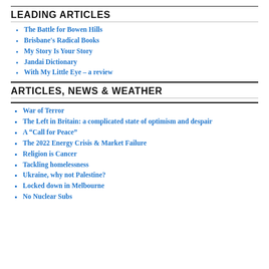LEADING ARTICLES
The Battle for Bowen Hills
Brisbane's Radical Books
My Story Is Your Story
Jandai Dictionary
With My Little Eye – a review
ARTICLES, NEWS & WEATHER
War of Terror
The Left in Britain: a complicated state of optimism and despair
A “Call for Peace”
The 2022 Energy Crisis & Market Failure
Religion is Cancer
Tackling homelessness
Ukraine, why not Palestine?
Locked down in Melbourne
No Nuclear Subs